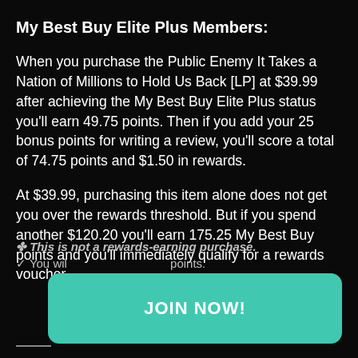My Best Buy Elite Plus Members:
When you purchase the Public Enemy It Takes a Nation of Millions to Hold Us Back [LP] at $39.99 after achieving the My Best Buy Elite Plus status you'll earn 49.75 points. Then if you add your 25 bonus points for writing a review, you'll score a total of 74.75 points and $1.50 in rewards.
At $39.99, purchasing this item alone does not get you over the rewards threshold. But if you spend another $120.20 you'll earn 175.25 My Best Buy points and you'll immediately qualify for a rewards voucher.
✤ This is not a rewards-earning purchase.
✓ You will earn points.
JOIN NOW!